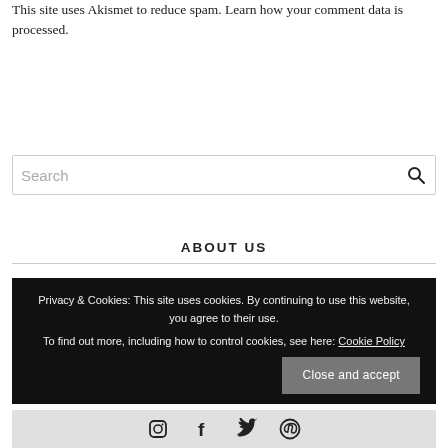This site uses Akismet to reduce spam. Learn how your comment data is processed.
[Figure (other): Search input box with search icon]
ABOUT US
Privacy & Cookies: This site uses cookies. By continuing to use this website, you agree to their use. To find out more, including how to control cookies, see here: Cookie Policy
Close and accept
[Figure (other): Social media icons: Instagram, Facebook, Twitter, Pinterest]